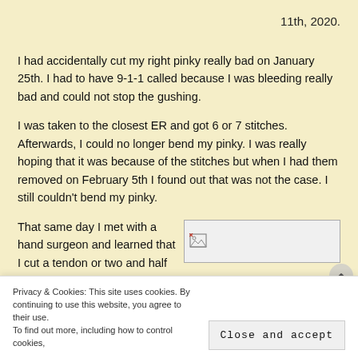11th, 2020.
I had accidentally cut my right pinky really bad on January 25th. I had to have 9-1-1 called because I was bleeding really bad and could not stop the gushing.
I was taken to the closest ER and got 6 or 7 stitches. Afterwards, I could no longer bend my pinky. I was really hoping that it was because of the stitches but when I had them removed on February 5th I found out that was not the case. I still couldn't bend my pinky.
That same day I met with a hand surgeon and learned that I cut a tendon or two and half a nerve. I was told that I
[Figure (photo): Broken/missing image placeholder icon]
Privacy & Cookies: This site uses cookies. By continuing to use this website, you agree to their use. To find out more, including how to control cookies,
Close and accept